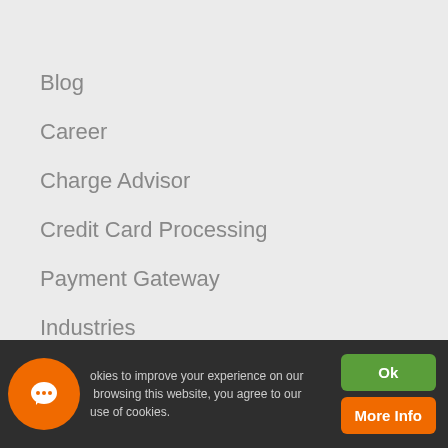Blog
Career
Charge Advisor
Credit Card Processing
Payment Gateway
Industries
Compliance
About Us
Solutions
Glossary
okies to improve your experience on our
browsing this website, you agree to our
use of cookies.